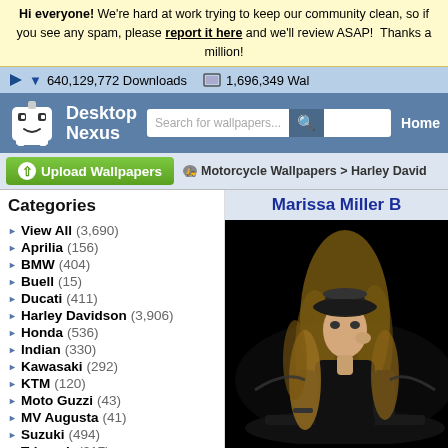Hi everyone! We're hard at work trying to keep our community clean, so if you see any spam, please report it here and we'll review ASAP! Thanks a million!
640,129,772 Downloads   1,696,349 Wal
[Figure (screenshot): Desktop Nexus logo: white robot face icon with smile]
Desktop Nexus
Search for wallpapers...
Home
Upload Wallpapers
Motorcycle Wallpapers > Harley David
Categories
View All (3,690)
Aprilia (156)
BMW (404)
Buell (15)
Ducati (411)
Harley Davidson (3,906)
Honda (536)
Indian (330)
Kawasaki (292)
KTM (120)
Moto Guzzi (43)
MV Augusta (41)
Suzuki (494)
Triumph (217)
Victory (65)
Marissa Miller B
[Figure (photo): Photo of blonde woman in dark hat and black outfit posing on a motorcycle against dark background]